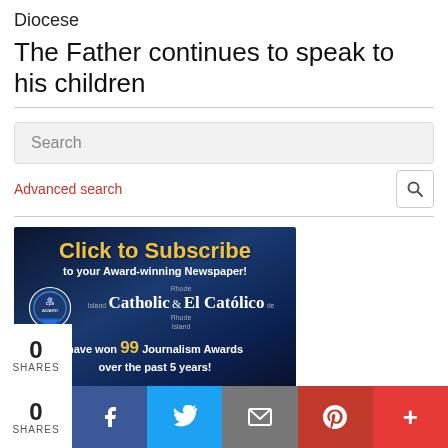Diocese
The Father continues to speak to his children
Search
Advanced search
[Figure (infographic): Click to Subscribe advertisement banner for Rhode Island Catholic & El Católico de Rhode Island newspaper, stating they have won 99 Journalism Awards over the past 5 years, including a CPA badge.]
0 SHARES
[Figure (infographic): Social media sharing bar with Facebook, Twitter, Email, Pinterest, and More (+) buttons]